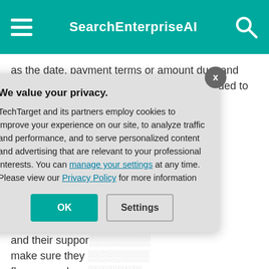SearchEnterpriseAI
as the date, payment terms or amount due, and apply the appropriate internal codes as needed to move along or flag documents for further investigation.
As AI technologies become integrated into procurement and... are seeing time ... By training mach... documents and ... workforces to au... and their suppor... make sure they ... flag unusual pur... purchases for ap... approval proces... behavior.
We value your privacy. TechTarget and its partners employ cookies to improve your experience on our site, to analyze traffic and performance, and to serve personalized content and advertising that are relevant to your professional interests. You can manage your settings at any time. Please view our Privacy Policy for more information